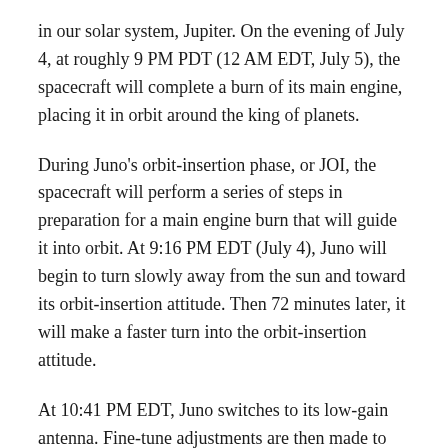in our solar system, Jupiter. On the evening of July 4, at roughly 9 PM PDT (12 AM EDT, July 5), the spacecraft will complete a burn of its main engine, placing it in orbit around the king of planets.
During Juno's orbit-insertion phase, or JOI, the spacecraft will perform a series of steps in preparation for a main engine burn that will guide it into orbit. At 9:16 PM EDT (July 4), Juno will begin to turn slowly away from the sun and toward its orbit-insertion attitude. Then 72 minutes later, it will make a faster turn into the orbit-insertion attitude.
At 10:41 PM EDT, Juno switches to its low-gain antenna. Fine-tune adjustments are then made to the spacecraft's attitude. Twenty-two minutes before the main engine burn, at 10:56 PM, the spacecraft spins up from two to five